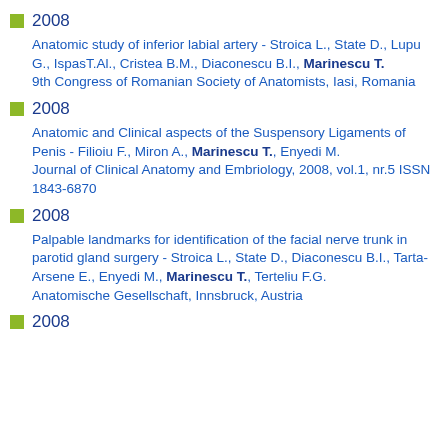2008
Anatomic study of inferior labial artery - Stroica L., State D., Lupu G., IspasT.Al., Cristea B.M., Diaconescu B.I., Marinescu T.
9th Congress of Romanian Society of Anatomists, Iasi, Romania
2008
Anatomic and Clinical aspects of the Suspensory Ligaments of Penis - Filioiu F., Miron A., Marinescu T., Enyedi M.
Journal of Clinical Anatomy and Embriology, 2008, vol.1, nr.5 ISSN 1843-6870
2008
Palpable landmarks for identification of the facial nerve trunk in parotid gland surgery - Stroica L., State D., Diaconescu B.I., Tarta-Arsene E., Enyedi M., Marinescu T., Terteliu F.G.
Anatomische Gesellschaft, Innsbruck, Austria
2008